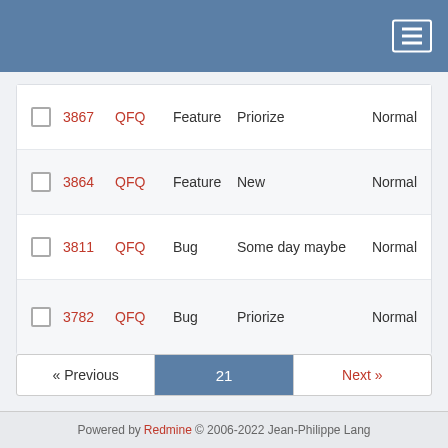Redmine issue tracker header with hamburger menu
|  | ID | Project | Type | Status | Priority |
| --- | --- | --- | --- | --- | --- |
| ☐ | 3867 | QFQ | Feature | Priorize | Normal |
| ☐ | 3864 | QFQ | Feature | New | Normal |
| ☐ | 3811 | QFQ | Bug | Some day maybe | Normal |
| ☐ | 3782 | QFQ | Bug | Priorize | Normal |
« Previous  21  Next »
(501-525/573) Per page: 25, 50, 100
Also available in: Atom | CSV | PDF
Powered by Redmine © 2006-2022 Jean-Philippe Lang